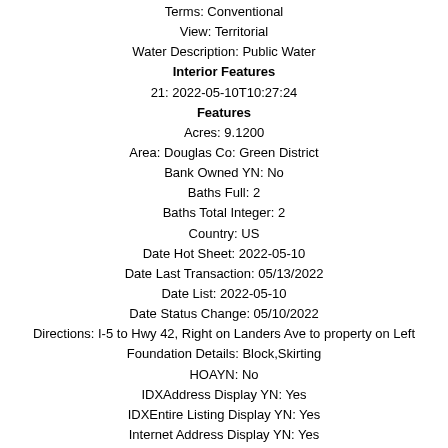Terms: Conventional
View: Territorial
Water Description: Public Water
Interior Features
21: 2022-05-10T10:27:24
Features
Acres: 9.1200
Area: Douglas Co: Green District
Bank Owned YN: No
Baths Full: 2
Baths Total Integer: 2
Country: US
Date Hot Sheet: 2022-05-10
Date Last Transaction: 05/13/2022
Date List: 2022-05-10
Date Status Change: 05/10/2022
Directions: I-5 to Hwy 42, Right on Landers Ave to property on Left
Foundation Details: Block,Skirting
HOAYN: No
IDXAddress Display YN: Yes
IDXEntire Listing Display YN: Yes
Internet Address Display YN: Yes
Internet Automated Valuation Display YN: Yes
Internet Consumer Comment YN: Yes
Internet Entire Listing Display YN: Yes
Internet Service Type: DSL
Legal Description: FISK FRUIT FARMS, LOT PT 10 & PT 11, ACRES 9.12, MS X# X170141, H
Limited Representation YN: Full Service
List Agent Email: jill@realtyproweb.com
List Agent Full Name: Jill DeLeach